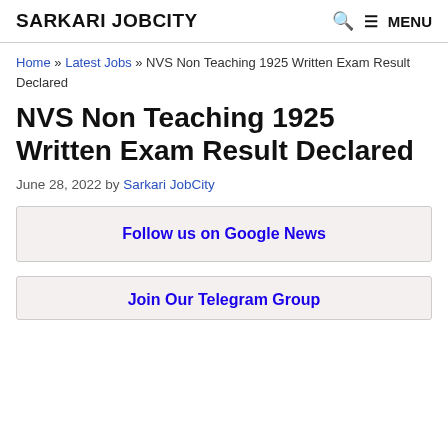SARKARI JOBCITY | MENU
Home » Latest Jobs » NVS Non Teaching 1925 Written Exam Result Declared
NVS Non Teaching 1925 Written Exam Result Declared
June 28, 2022 by Sarkari JobCity
Follow us on Google News
Join Our Telegram Group